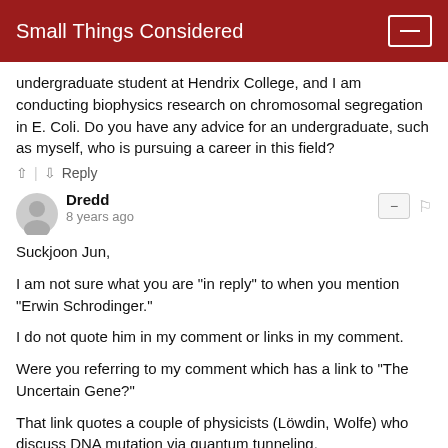Small Things Considered
undergraduate student at Hendrix College, and I am conducting biophysics research on chromosomal segregation in E. Coli. Do you have any advice for an undergraduate, such as myself, who is pursuing a career in this field?
↑ | ↓   Reply
Dredd
8 years ago
Suckjoon Jun,

I am not sure what you are "in reply" to when you mention "Erwin Schrodinger."

I do not quote him in my comment or links in my comment.

Were you referring to my comment which has a link to "The Uncertain Gene?"

That link quotes a couple of physicists (Löwdin, Wolfe) who discuss DNA mutation via quantum tunneling.